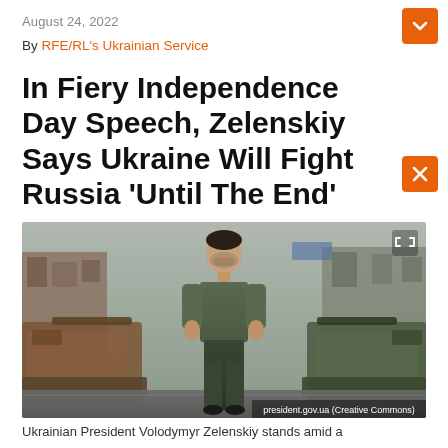August 24, 2022
By RFE/RL's Ukrainian Service
In Fiery Independence Day Speech, Zelenskiy Says Ukraine Will Fight Russia 'Until The End'
[Figure (photo): Ukrainian President Volodymyr Zelenskiy stands amid destroyed Russian military vehicles in a city square, wearing a military green t-shirt and dark trousers.]
Ukrainian President Volodymyr Zelenskiy stands amid a